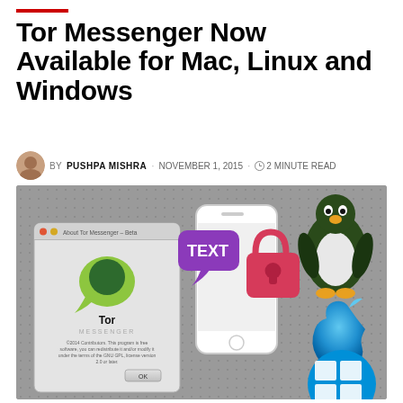Tor Messenger Now Available for Mac, Linux and Windows
BY PUSHPA MISHRA · NOVEMBER 1, 2015 · 2 MINUTE READ
[Figure (screenshot): Screenshot of Tor Messenger Beta app dialog on Mac, alongside a phone graphic with a purple TEXT speech bubble, a red padlock, and OS logos for Linux (Tux penguin), Apple (blue Apple logo), and Windows (blue Windows logo), all on a gray dotted background.]